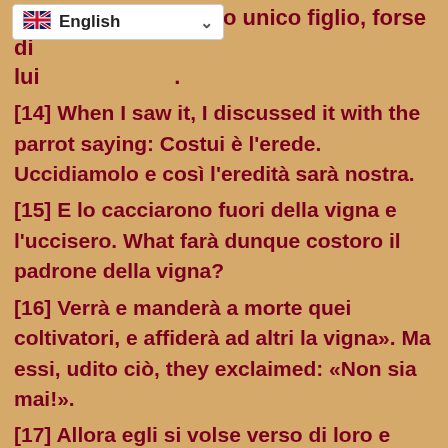de... lo unico figlio, forse di lui...
[14] When I saw it, I discussed it with the parrot saying: Costui è l'erede. Uccidiamolo e così l'eredità sarà nostra.
[15] E lo cacciarono fuori della vigna e l'uccisero. What farà dunque costoro il padrone della vigna?
[16] Verrà e manderà a morte quei coltivatori, e affiderà ad altri la vigna». Ma essi, udito ciò, they exclaimed: «Non sia mai!».
[17] Allora egli si volse verso di loro e disse: «Che cos'è dunque ciò che è scritto: La pietra che i costruttori hanno scartata,